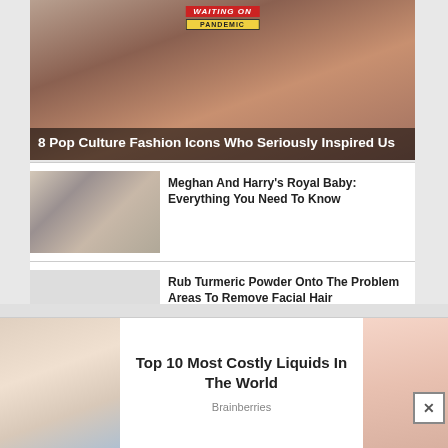[Figure (photo): Hero image of a woman in glamorous attire with 'Pandemic' badge overlay]
8 Pop Culture Fashion Icons Who Seriously Inspired Us
[Figure (photo): Meghan and Harry with baby Archie]
Meghan And Harry's Royal Baby: Everything You Need To Know
[Figure (photo): Blank/placeholder thumbnail]
Rub Turmeric Powder Onto The Problem Areas To Remove Facial Hair
[Figure (photo): Squid Game character thumbnail]
From A Minor Character To One Of The Most Tragic
[Figure (photo): Advertisement - hand with liquid metal]
Top 10 Most Costly Liquids In The World
Brainberries
[Figure (illustration): Advertisement - skin illustration]